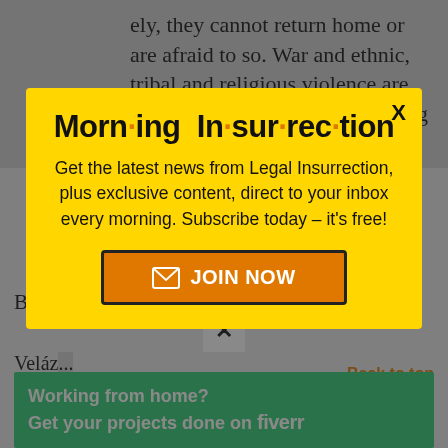ely, they cannot return home or are afraid to so. War and ethnic, tribal and religious violence are leading causes of refugees fleeing their countries.
[Figure (screenshot): Accessibility icon (wheelchair symbol) on teal background]
Business.
Veláz... was recognized by National Latino Coalition on
[Figure (other): Morning Insurrection newsletter signup modal popup with yellow background. Title: Morn·ing In·sur·rec·tion. Body: Get the latest news from Legal Insurrection, plus exclusive content, direct to your inbox every morning. Subscribe today – it's free! Button: JOIN NOW]
[Figure (other): Fiverr advertisement banner: Working from home? Get your projects done on fiverr]